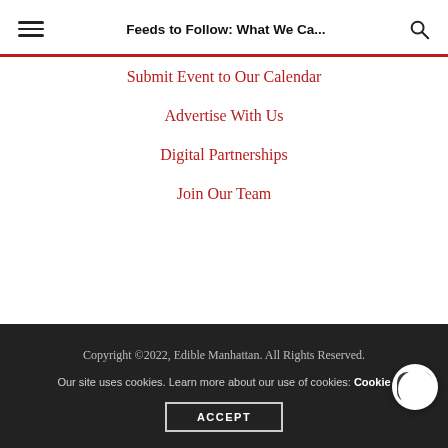Feeds to Follow: What We Ca...
Submit Event to Our Calendar
Advertise With Us
Digital Partnerships
Join Our Team
Copyright ©2022, Edible Manhattan. All Rights Reserved.
Our site uses cookies. Learn more about our use of cookies: Cookie
ACCEPT